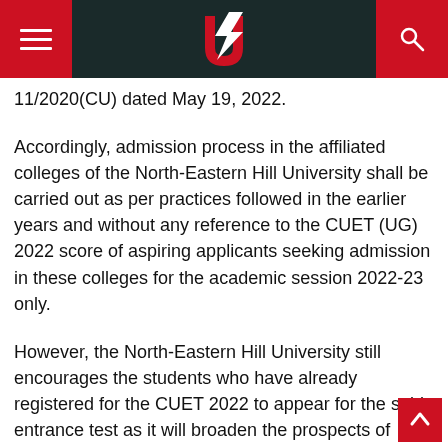Navigation header with hamburger menu, university logo, and search icon
11/2020(CU) dated May 19, 2022.
Accordingly, admission process in the affiliated colleges of the North-Eastern Hill University shall be carried out as per practices followed in the earlier years and without any reference to the CUET (UG) 2022 score of aspiring applicants seeking admission in these colleges for the academic session 2022-23 only.
However, the North-Eastern Hill University still encourages the students who have already registered for the CUET 2022 to appear for the said entrance test as it will broaden the prospects of students to take admission in other central universities of the count